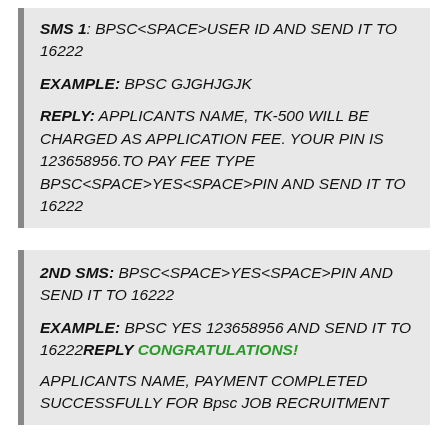SMS 1: BPSC<SPACE>USER ID AND SEND IT TO 16222
EXAMPLE: BPSC GJGHJGJK
REPLY: APPLICANTS NAME, TK-500 WILL BE CHARGED AS APPLICATION FEE. YOUR PIN IS 123658956.TO PAY FEE TYPE BPSC<SPACE>YES<SPACE>PIN AND SEND IT TO 16222
2ND SMS: BPSC<SPACE>YES<SPACE>PIN AND SEND IT TO 16222
EXAMPLE: BPSC YES 123658956 AND SEND IT TO 16222REPLY CONGRATULATIONS! APPLICANTS NAME, PAYMENT COMPLETED SUCCESSFULLY FOR Bpsc JOB RECRUITMENT